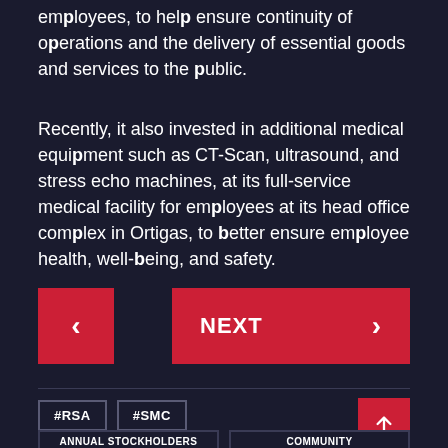employees, to help ensure continuity of operations and the delivery of essential goods and services to the public.
Recently, it also invested in additional medical equipment such as CT-Scan, ultrasound, and stress echo machines, at its full-service medical facility for employees at its head office complex in Ortigas, to better ensure employee health, well-being, and safety.
[Figure (other): Navigation buttons: a red back button with left chevron on the left, and a red NEXT button with right chevron on the right]
#RSA
#SMC
ANNUAL STOCKHOLDERS MEETING
COMMUNITY